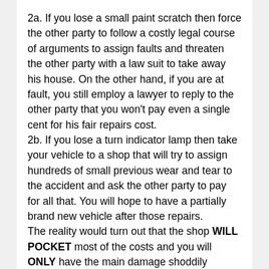2a. If you lose a small paint scratch then force the other party to follow a costly legal course of arguments to assign faults and threaten the other party with a law suit to take away his house. On the other hand, if you are at fault, you still employ a lawyer to reply to the other party that you won't pay even a single cent for his fair repairs cost.
2b. If you lose a turn indicator lamp then take your vehicle to a shop that will try to assign hundreds of small previous wear and tear to the accident and ask the other party to pay for all that. You will hope to have a partially brand new vehicle after those repairs.
The reality would turn out that the shop WILL POCKET most of the costs and you will ONLY have the main damage shoddily repaired: You have been used by the repairer to scam money on the